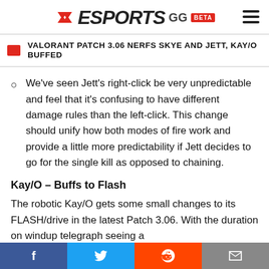ESPORTS GG BETA
VALORANT PATCH 3.06 NERFS SKYE AND JETT, KAY/O BUFFED
We've seen Jett's right-click be very unpredictable and feel that it's confusing to have different damage rules than the left-click. This change should unify how both modes of fire work and provide a little more predictability if Jett decides to go for the single kill as opposed to chaining.
Kay/O – Buffs to Flash
The robotic Kay/O gets some small changes to its FLASH/drive in the latest Patch 3.06. With the duration on windup telegraph seeing a